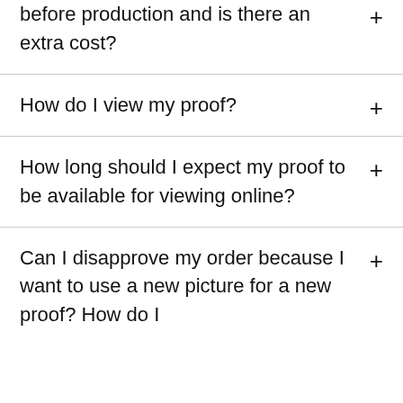before production and is there an extra cost?
How do I view my proof?
How long should I expect my proof to be available for viewing online?
Can I disapprove my order because I want to use a new picture for a new proof? How do I